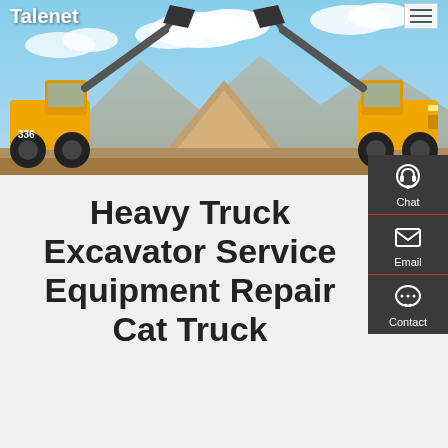Talenet
[Figure (photo): Construction site with heavy yellow wheel loaders/excavators mirrored facing each other, with a pile of sand/dirt in the background under a blue sky.]
Heavy Truck Excavator Service Equipment Repair Cat Truck